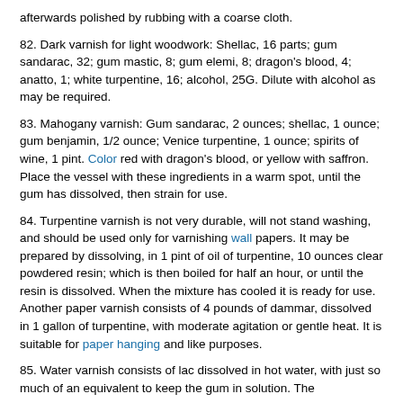afterwards polished by rubbing with a coarse cloth.
82. Dark varnish for light woodwork: Shellac, 16 parts; gum sandarac, 32; gum mastic, 8; gum elemi, 8; dragon's blood, 4; anatto, 1; white turpentine, 16; alcohol, 25G. Dilute with alcohol as may be required.
83. Mahogany varnish: Gum sandarac, 2 ounces; shellac, 1 ounce; gum benjamin, 1/2 ounce; Venice turpentine, 1 ounce; spirits of wine, 1 pint. Color red with dragon's blood, or yellow with saffron. Place the vessel with these ingredients in a warm spot, until the gum has dissolved, then strain for use.
84. Turpentine varnish is not very durable, will not stand washing, and should be used only for varnishing wall papers. It may be prepared by dissolving, in 1 pint of oil of turpentine, 10 ounces clear powdered resin; which is then boiled for half an hour, or until the resin is dissolved. When the mixture has cooled it is ready for use. Another paper varnish consists of 4 pounds of dammar, dissolved in 1 gallon of turpentine, with moderate agitation or gentle heat. It is suitable for paper hanging and like purposes.
85. Water varnish consists of lac dissolved in hot water, with just so much of an equivalent to keep the gum in solution. The